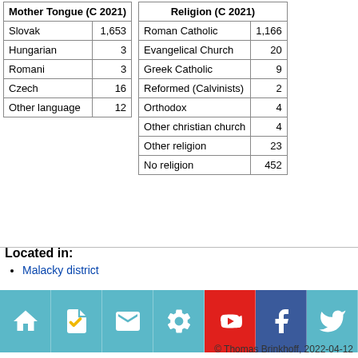| Mother Tongue (C 2021) |  |
| --- | --- |
| Slovak | 1,653 |
| Hungarian | 3 |
| Romani | 3 |
| Czech | 16 |
| Other language | 12 |
| Religion (C 2021) |  |
| --- | --- |
| Roman Catholic | 1,166 |
| Evangelical Church | 20 |
| Greek Catholic | 9 |
| Reformed (Calvinists) | 2 |
| Orthodox | 4 |
| Other christian church | 4 |
| Other religion | 23 |
| No religion | 452 |
Located in:
Malacky district
© Thomas Brinkhoff, 2022-04-12